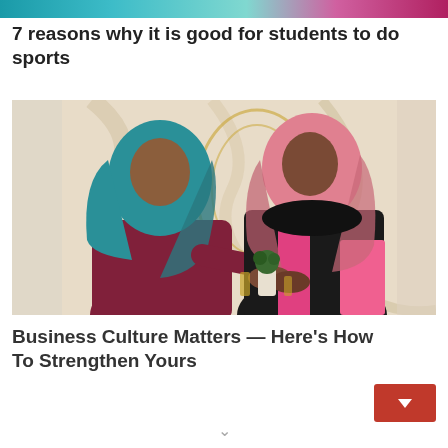7 reasons why it is good for students to do sports
[Figure (photo): Two women wearing hijabs shaking hands in an elegant indoor setting. One wears a teal hijab and maroon outfit; the other wears a pink hijab and black jacket with pink shirt, holding a pink folder.]
Business Culture Matters — Here’s How To Strengthen Yours